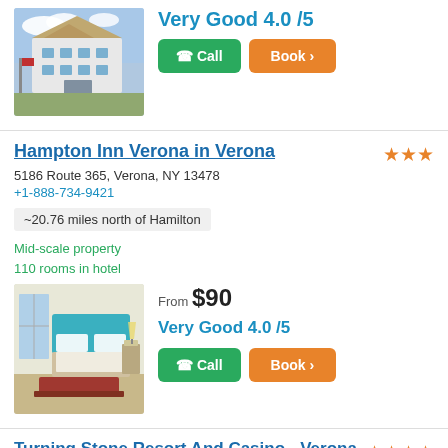[Figure (photo): Exterior photo of a hotel building with blue sky]
Very Good 4.0 /5
Call | Book >
Hampton Inn Verona in Verona
5186 Route 365, Verona, NY 13478
+1-888-734-9421
~20.76 miles north of Hamilton
Mid-scale property
110 rooms in hotel
[Figure (photo): Interior photo of a hotel room with modern decor]
From $90
Very Good 4.0 /5
Call | Book >
Turning Stone Resort And Casino - Verona
5218 Patrick Rd., Verona, NY 13478
+1-888-841-5202